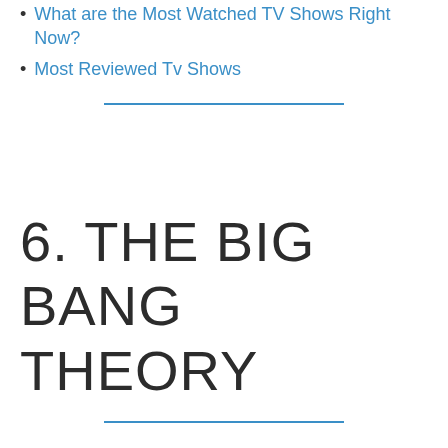What are the Most Watched TV Shows Right Now?
Most Reviewed Tv Shows
6. THE BIG BANG THEORY